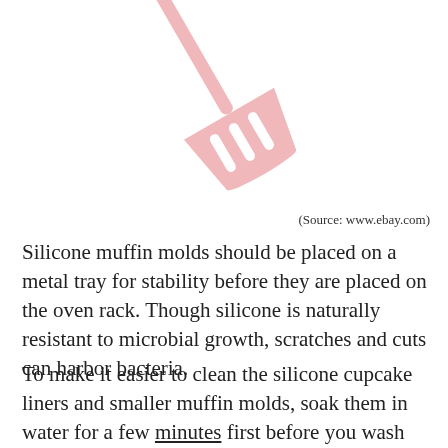[Figure (photo): A pink silicone slotted spatula/turner, shown from above at an angle against a white background. The spatula has a long handle and a wide slotted head.]
(Source: www.ebay.com)
Silicone muffin molds should be placed on a metal tray for stability before they are placed on the oven rack. Though silicone is naturally resistant to microbial growth, scratches and cuts can harbor bacteria.
To make it easier to clean the silicone cupcake liners and smaller muffin molds, soak them in water for a few minutes first before you wash them. Do not use abrasive chemicals and cleaning